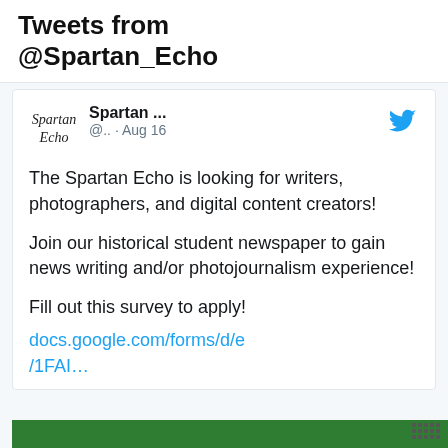Tweets from @Spartan_Echo
[Figure (screenshot): Tweet from @Spartan_Echo account with Spartan Echo logo, Twitter bird icon, dated Aug 16. Tweet text: 'The Spartan Echo is looking for writers, photographers, and digital content creators! Join our historical student newspaper to gain news writing and/or photojournalism experience! Fill out this survey to apply!' with link docs.google.com/forms/d/e/1FAI…]
[Figure (photo): Bottom strip showing green background with dot grid pattern on right side]